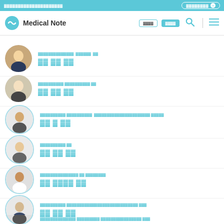Medical Note - doctor listing page with navigation
Doctor 1: affiliation shown, name shown
Doctor 2: affiliation shown, name shown
Doctor 3: affiliation shown, name shown
Doctor 4: affiliation shown, name shown
Doctor 5: affiliation shown, name shown
Doctor 6: affiliation shown, name shown
Doctor 7: affiliation shown, name shown (partial)